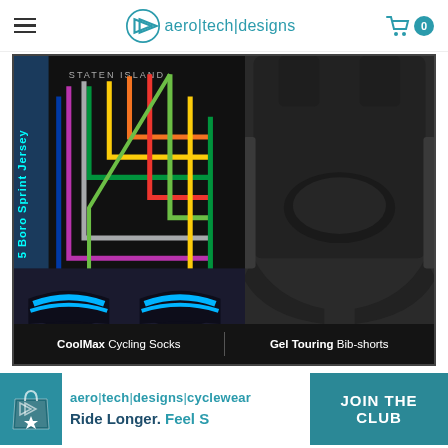aero|tech|designs
[Figure (photo): Cycling gear product photo showing a 5 Boro Sprint Jersey with subway map design, CoolMax Cycling Socks in black and blue, and Gel Touring Bib-shorts in dark grey/black]
CoolMax Cycling Socks | Gel Touring Bib-shorts
[Figure (logo): Aero Tech Designs Cyclewear logo with teal shopping bag icon and star]
aero|tech|designs|cyclewear
Ride Longer. Feel S...
JOIN THE CLUB